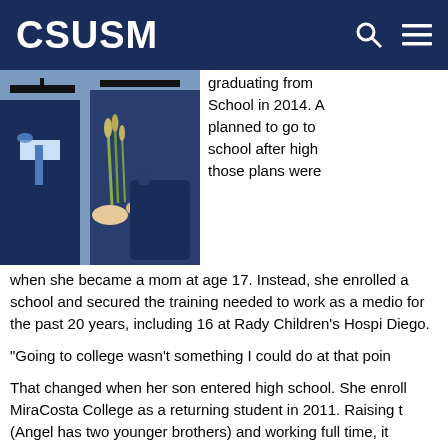CSUSM
[Figure (photo): Photo of graduates in cap and gown holding flowers, cropped view showing hands and upper bodies]
graduating from School in 2014. A planned to go to school after high those plans were when she became a mom at age 17. Instead, she enrolled a school and secured the training needed to work as a medio for the past 20 years, including 16 at Rady Children's Hospi Diego.
“Going to college wasn’t something I could do at that poin
That changed when her son entered high school. She enroll MiraCosta College as a returning student in 2011. Raising t (Angel has two younger brothers) and working full time, it